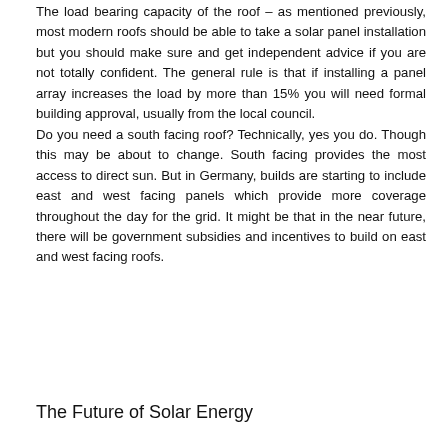The load bearing capacity of the roof – as mentioned previously, most modern roofs should be able to take a solar panel installation but you should make sure and get independent advice if you are not totally confident. The general rule is that if installing a panel array increases the load by more than 15% you will need formal building approval, usually from the local council. Do you need a south facing roof? Technically, yes you do. Though this may be about to change. South facing provides the most access to direct sun. But in Germany, builds are starting to include east and west facing panels which provide more coverage throughout the day for the grid. It might be that in the near future, there will be government subsidies and incentives to build on east and west facing roofs.
The Future of Solar Energy